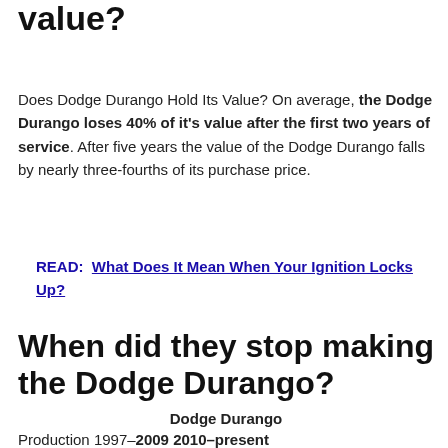value?
Does Dodge Durango Hold Its Value? On average, the Dodge Durango loses 40% of it's value after the first two years of service. After five years the value of the Dodge Durango falls by nearly three-fourths of its purchase price.
READ:  What Does It Mean When Your Ignition Locks Up?
When did they stop making the Dodge Durango?
| Dodge Durango |
| Production 1997–2009 2010–present |
| Body and chassis |